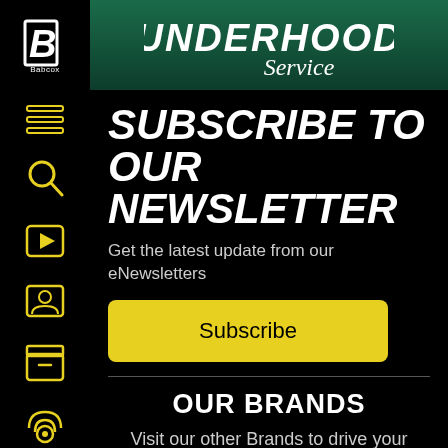UNDERHOOD Service
SUBSCRIBE TO OUR NEWSLETTER
Get the latest update from our eNewsletters
Subscribe
OUR BRANDS
Visit our other Brands to drive your success